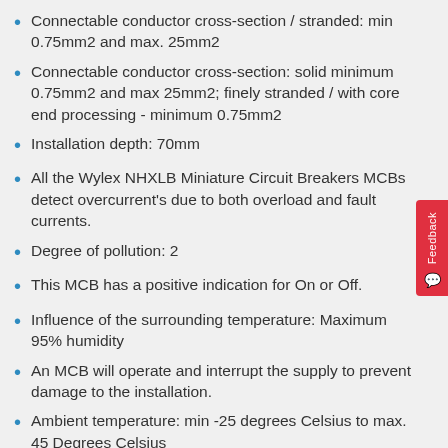Connectable conductor cross-section / stranded: min 0.75mm2 and max. 25mm2
Connectable conductor cross-section: solid minimum 0.75mm2 and max 25mm2; finely stranded / with core end processing - minimum 0.75mm2
Installation depth: 70mm
All the Wylex NHXLB Miniature Circuit Breakers MCBs detect overcurrent's due to both overload and fault currents.
Degree of pollution: 2
This MCB has a positive indication for On or Off.
Influence of the surrounding temperature: Maximum 95% humidity
An MCB will operate and interrupt the supply to prevent damage to the installation.
Ambient temperature: min -25 degrees Celsius to max. 45 Degrees Celsius